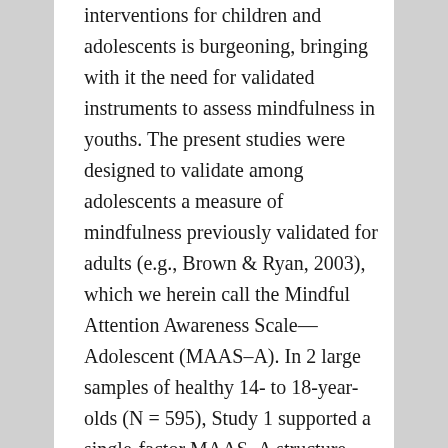interventions for children and adolescents is burgeoning, bringing with it the need for validated instruments to assess mindfulness in youths. The present studies were designed to validate among adolescents a measure of mindfulness previously validated for adults (e.g., Brown &amp; Ryan, 2003), which we herein call the Mindful Attention Awareness Scale—Adolescent (MAAS–A). In 2 large samples of healthy 14- to 18-year-olds (N = 595), Study 1 supported a single-factor MAAS–A structure, along with acceptably high internal consistency, test–retest reliability, and both concurrent and incremental validity.